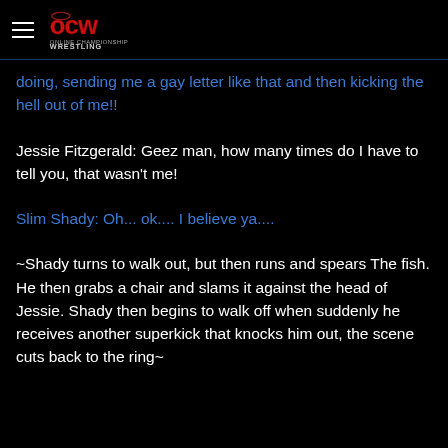OCW Online Championship Wrestling
doing, sending me a gay letter like that and then kicking the hell out of me!!
Jessie Fitzgerald: Geez man, how many times do I have to tell you, that wasn't me!
Slim Shady: Oh... ok.... I believe ya....
~Shady turns to walk out, but then runs and spears The fish. He then grabs a chair and slams it against the head of Jessie. Shady then begins to walk off when suddenly he receives another superkick that knocks him out, the scene cuts back to the ring~